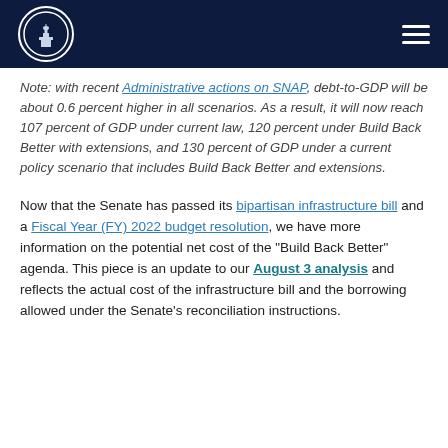[Header with logo and navigation]
Note: with recent Administrative actions on SNAP, debt-to-GDP will be about 0.6 percent higher in all scenarios. As a result, it will now reach 107 percent of GDP under current law, 120 percent under Build Back Better with extensions, and 130 percent of GDP under a current policy scenario that includes Build Back Better and extensions.
Now that the Senate has passed its bipartisan infrastructure bill and a Fiscal Year (FY) 2022 budget resolution, we have more information on the potential net cost of the "Build Back Better" agenda. This piece is an update to our August 3 analysis and reflects the actual cost of the infrastructure bill and the borrowing allowed under the Senate's reconciliation instructions.